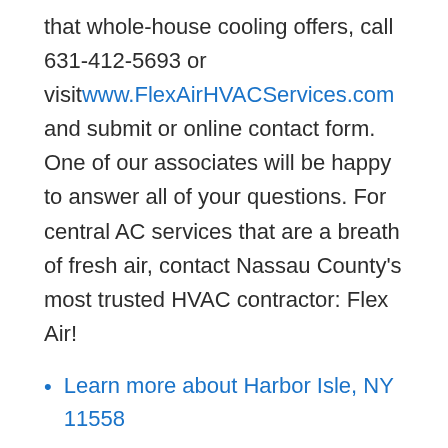that whole-house cooling offers, call 631-412-5693 or visit www.FlexAirHVACServices.com and submit or online contact form. One of our associates will be happy to answer all of your questions. For central AC services that are a breath of fresh air, contact Nassau County's most trusted HVAC contractor: Flex Air!
Learn more about Harbor Isle, NY 11558
Open a Harbor Isle, NY map
Find the Harbor Isle, NY United States Post Office
Locate nearby Harbor Isle, NY